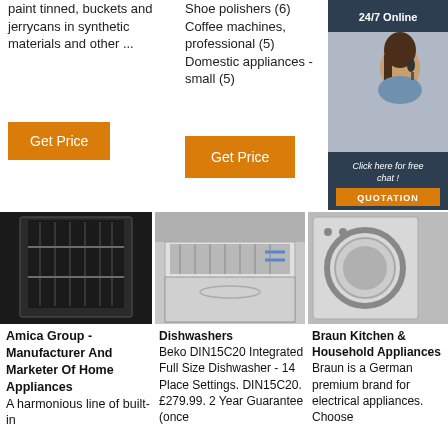paint tinned, buckets and jerrycans in synthetic materials and other ...
Shoe polishers (6)
Coffee machines, professional (5)
Domestic appliances - small (5)
Get Price
Get Price
[Figure (photo): Open dishwasher with racks visible, black and white photo]
[Figure (photo): Open dishwasher built into kitchen counter]
[Figure (photo): Washing machine drum front view with 24/7 Online chat advertisement overlay]
Amica Group - Manufacturer And Marketer Of Home Appliances
A harmonious line of built-in
Dishwashers
Beko DIN15C20 Integrated Full Size Dishwasher - 14 Place Settings. DIN15C20. £279.99. 2 Year Guarantee (once
Braun Kitchen & Household Appliances
Braun is a German premium brand for electrical appliances. Choose